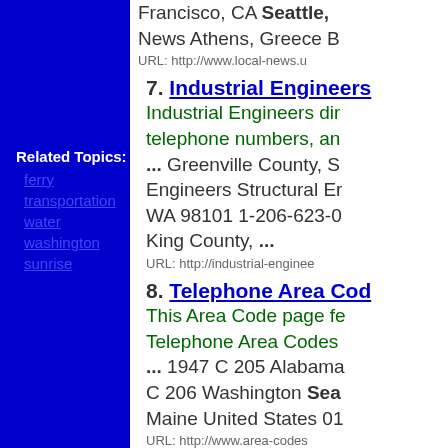Francisco, CA Seattle, News Athens, Greece B URL: http://www.local-news.u
Related Topics:
ferry
transportation
water
washington
sunrise
7. Industrial Engineers - Industrial Engineers dir telephone numbers, an ... Greenville County, S Engineers Structural Er WA 98101 1-206-623-0 King County, ... URL: http://industrial-enginee
8. Telephone Area Cod This Area Code page fe Telephone Area Codes ... 1947 C 205 Alabama C 206 Washington Sea Maine United States 01 URL: http://www.area-codes